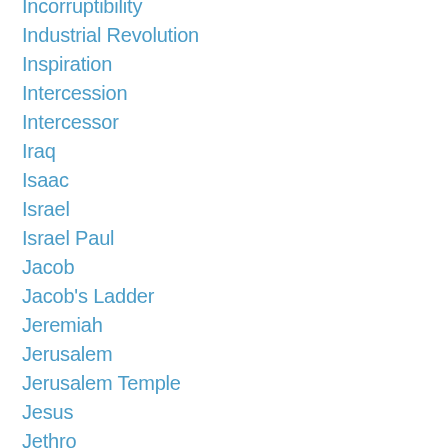Incorruptibility
Industrial Revolution
Inspiration
Intercession
Intercessor
Iraq
Isaac
Israel
Israel Paul
Jacob
Jacob's Ladder
Jeremiah
Jerusalem
Jerusalem Temple
Jesus
Jethro
Jewish Dietary Laws
Jewish Festivals
Jewish Sages
Jewish Temple
Jochebed